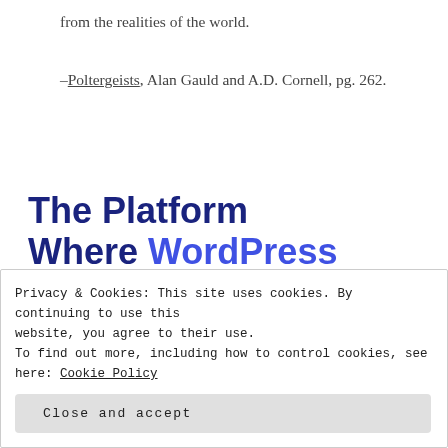from the realities of the world.
–Poltergeists, Alan Gauld and A.D. Cornell, pg. 262.
The Platform Where WordPress Works Best
[Figure (other): SEE PRICING button (partially visible, dark blue)]
Privacy & Cookies: This site uses cookies. By continuing to use this website, you agree to their use.
To find out more, including how to control cookies, see here: Cookie Policy
Close and accept